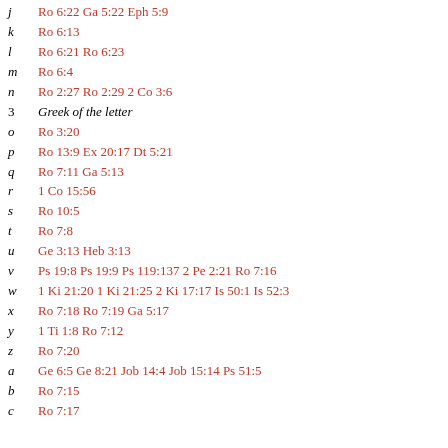j  Ro 6:22 Ga 5:22 Eph 5:9
k  Ro 6:13
l  Ro 6:21 Ro 6:23
m  Ro 6:4
n  Ro 2:27 Ro 2:29 2 Co 3:6
3  Greek of the letter
o  Ro 3:20
p  Ro 13:9 Ex 20:17 Dt 5:21
q  Ro 7:11 Ga 5:13
r  1 Co 15:56
s  Ro 10:5
t  Ro 7:8
u  Ge 3:13 Heb 3:13
v  Ps 19:8 Ps 19:9 Ps 119:137 2 Pe 2:21 Ro 7:16
w  1 Ki 21:20 1 Ki 21:25 2 Ki 17:17 Is 50:1 Is 52:3
x  Ro 7:18 Ro 7:19 Ga 5:17
y  1 Ti 1:8 Ro 7:12
z  Ro 7:20
a  Ge 6:5 Ge 8:21 Job 14:4 Job 15:14 Ps 51:5
b  Ro 7:15
c  Ro 7:17